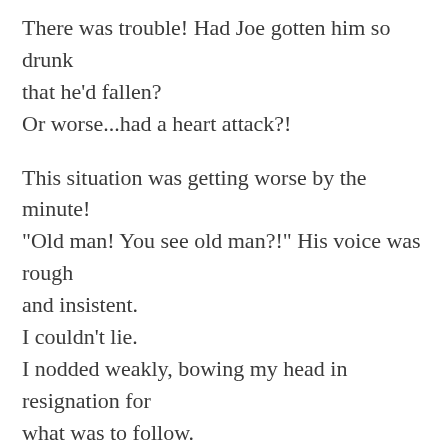There was trouble! Had Joe gotten him so drunk that he'd fallen?
Or worse...had a heart attack?!

This situation was getting worse by the minute!
"Old man! You see old man?!" His voice was rough and insistent.
I couldn't lie.
I nodded weakly, bowing my head in resignation for what was to follow.
At this, his demeanor changed abruptly. His face broke into a broad grin.
He bowed slightly and introduced himself. "Come with me, please!" he said excitedly. He took me by the arm and led the way back into the stadium.
We rushed down toward the front rows.